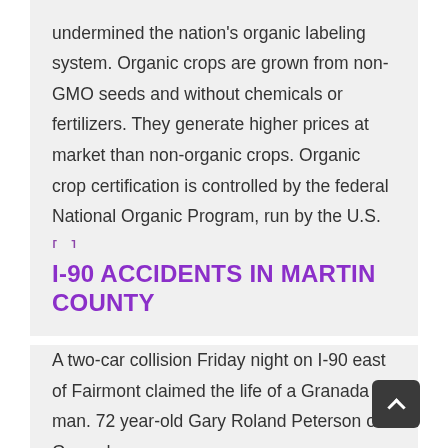undermined the nation's organic labeling system. Organic crops are grown from non-GMO seeds and without chemicals or fertilizers. They generate higher prices at market than non-organic crops. Organic crop certification is controlled by the federal National Organic Program, run by the U.S. [...]
I-90 ACCIDENTS IN MARTIN COUNTY
A two-car collision Friday night on I-90 east of Fairmont claimed the life of a Granada man. 72 year-old Gary Roland Peterson of Granada was